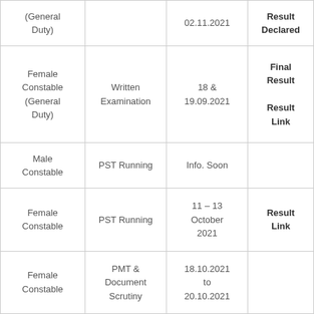| Post | Stage | Date | Result |
| --- | --- | --- | --- |
| (General Duty) |  | 02.11.2021 | Result Declared |
| Female Constable (General Duty) | Written Examination | 18 & 19.09.2021 | Final Result
Result Link |
| Male Constable | PST Running | Info. Soon |  |
| Female Constable | PST Running | 11 – 13 October 2021 | Result Link |
| Female Constable | PMT & Document Scrutiny | 18.10.2021 to 20.10.2021 |  |